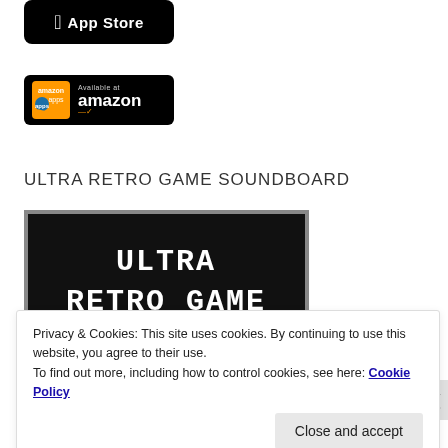[Figure (logo): App Store download button — black rounded rectangle with Apple logo and 'App Store' text in white]
[Figure (logo): Amazon Apps download button — black rounded rectangle with orange Amazon apps logo on left, 'Available at amazon' text on right with smile arrow]
ULTRA RETRO GAME SOUNDBOARD
[Figure (screenshot): Screenshot of Ultra Retro Game Soundboard app — black background with white pixel-art text reading 'ULTRA RETRO GAME' and white pixel-art staircase/platform shapes at bottom]
Privacy & Cookies: This site uses cookies. By continuing to use this website, you agree to their use.
To find out more, including how to control cookies, see here: Cookie Policy
Close and accept